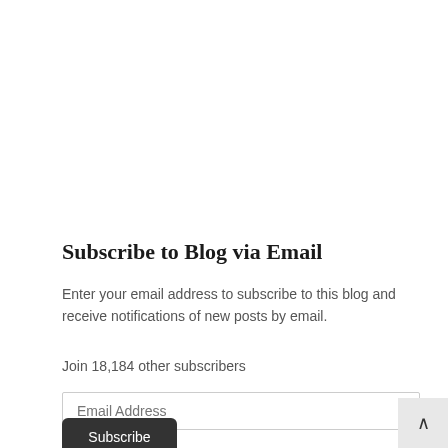Subscribe to Blog via Email
Enter your email address to subscribe to this blog and receive notifications of new posts by email.
Join 18,184 other subscribers